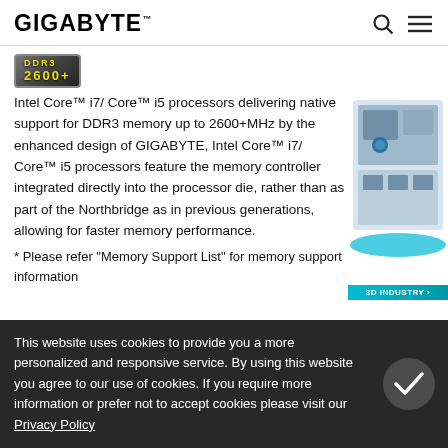GIGABYTE
[Figure (logo): DDR3 2600+ badge logo in yellow/grey]
Intel Core™ i7/ Core™ i5 processors delivering native support for DDR3 memory up to 2600+MHz by the enhanced design of GIGABYTE, Intel Core™ i7/ Core™ i5 processors feature the memory controller integrated directly into the processor die, rather than as part of the Northbridge as in previous generations, allowing for faster memory performance.
* Please refer "Memory Support List" for memory support information
[Figure (illustration): 3D Industry motherboard/hardware illustration with teal 3D INDUSTRY button]
This website uses cookies to provide you a more personalized and responsive service. By using this website you agree to our use of cookies. If you require more information or prefer not to accept cookies please visit our Privacy Policy